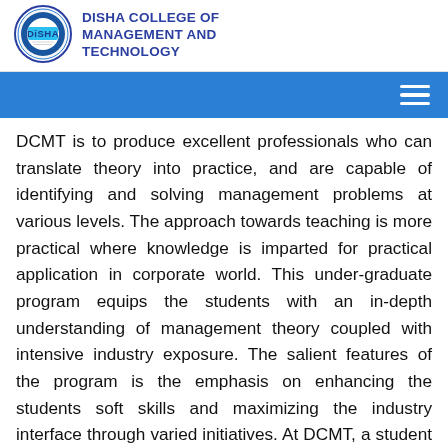[Figure (logo): Disha College of Management and Technology circular logo with DISHA text in center]
DISHA COLLEGE OF MANAGEMENT AND TECHNOLOGY
[Figure (other): Blue navigation bar with hamburger menu icon on the right]
DCMT is to produce excellent professionals who can translate theory into practice, and are capable of identifying and solving management problems at various levels. The approach towards teaching is more practical where knowledge is imparted for practical application in corporate world. This under-graduate program equips the students with an in-depth understanding of management theory coupled with intensive industry exposure. The salient features of the program is the emphasis on enhancing the students soft skills and maximizing the industry interface through varied initiatives. At DCMT, a student can study the Bachelor of Business Administration